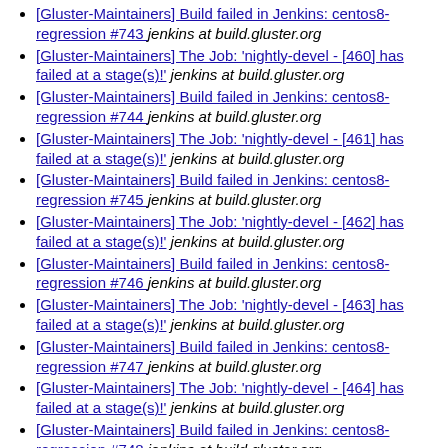[Gluster-Maintainers] Build failed in Jenkins: centos8-regression #743  jenkins at build.gluster.org
[Gluster-Maintainers] The Job: 'nightly-devel - [460] has failed at a stage(s)!'  jenkins at build.gluster.org
[Gluster-Maintainers] Build failed in Jenkins: centos8-regression #744  jenkins at build.gluster.org
[Gluster-Maintainers] The Job: 'nightly-devel - [461] has failed at a stage(s)!'  jenkins at build.gluster.org
[Gluster-Maintainers] Build failed in Jenkins: centos8-regression #745  jenkins at build.gluster.org
[Gluster-Maintainers] The Job: 'nightly-devel - [462] has failed at a stage(s)!'  jenkins at build.gluster.org
[Gluster-Maintainers] Build failed in Jenkins: centos8-regression #746  jenkins at build.gluster.org
[Gluster-Maintainers] The Job: 'nightly-devel - [463] has failed at a stage(s)!'  jenkins at build.gluster.org
[Gluster-Maintainers] Build failed in Jenkins: centos8-regression #747  jenkins at build.gluster.org
[Gluster-Maintainers] The Job: 'nightly-devel - [464] has failed at a stage(s)!'  jenkins at build.gluster.org
[Gluster-Maintainers] Build failed in Jenkins: centos8-regression #748  jenkins at build.gluster.org
[Gluster-Maintainers] The Job: 'nightly-devel - [465] has failed at a stage(s)!'  jenkins at build.gluster.org
[Gluster-Maintainers] Build failed in Jenkins: centos8-